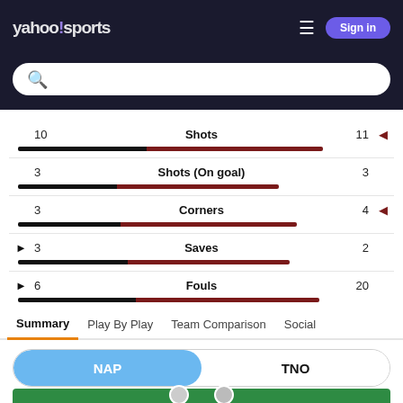[Figure (screenshot): Yahoo Sports app header with logo, hamburger menu, and Sign In button on dark background]
[Figure (screenshot): Search bar with purple magnifying glass icon on dark background]
| Left | Stat | Right | Advantage |
| --- | --- | --- | --- |
| 10 | Shots | 11 | ▶ right |
| 3 | Shots (On goal) | 3 | none |
| 3 | Corners | 4 | ▶ right |
| 3 | Saves | 2 | ▶ left |
| 6 | Fouls | 20 | ▶ left |
Summary  Play By Play  Team Comparison  Social
NAP  TNO
[Figure (photo): Soccer field formation view with player avatars]